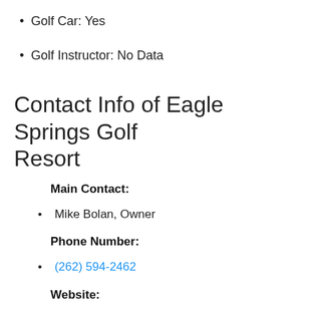Golf Car: Yes
Golf Instructor: No Data
Contact Info of Eagle Springs Golf Resort
Main Contact:
Mike Bolan, Owner
Phone Number:
(262) 594-2462
Website:
Web: Link